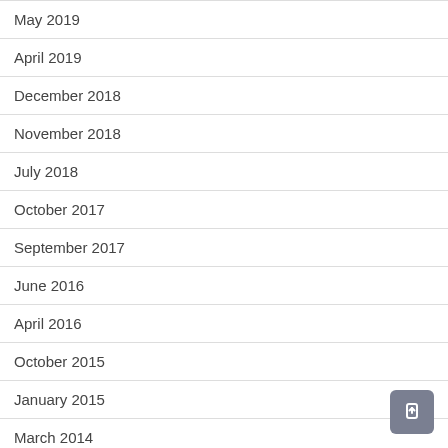May 2019
April 2019
December 2018
November 2018
July 2018
October 2017
September 2017
June 2016
April 2016
October 2015
January 2015
March 2014
November 2013
November 2010
September 2009